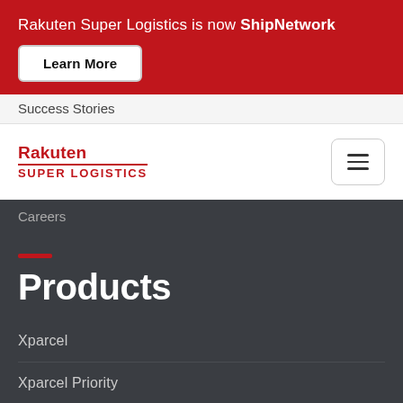Rakuten Super Logistics is now ShipNetwork
Learn More
Success Stories
[Figure (logo): Rakuten Super Logistics logo - red text with underline]
Careers
Products
Xparcel
Xparcel Priority
Xparcel Expedited
Xparcel Ground